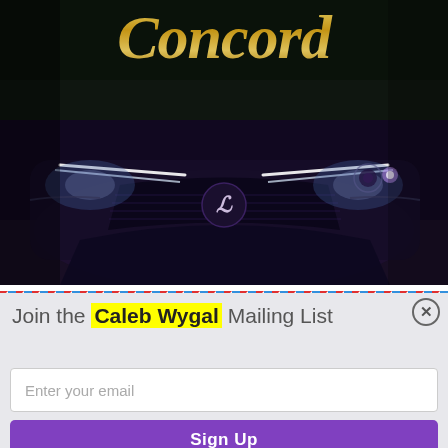[Figure (photo): Dark/night photo of a Lexus car front grille and headlights with italic gold script text 'Concord' at the top]
Join the Caleb Wygal Mailing List
Enter your email
Sign Up